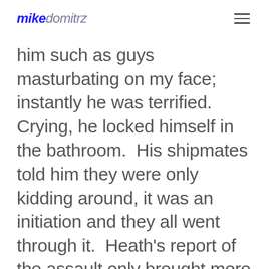mikedomitrz
him such as guys masturbating on my face; instantly he was terrified.  Crying, he locked himself in the bathroom.  His shipmates told him they were only kidding around, it was an initiation and they all went through it.  Heath's report of the assault only brought more assaults. After returning to the Butte, he told a senior leader what had happened, and was told he was lying.  The assaults just escalated from there; it turned